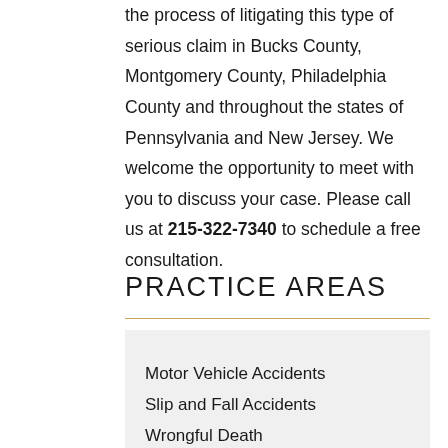the process of litigating this type of serious claim in Bucks County, Montgomery County, Philadelphia County and throughout the states of Pennsylvania and New Jersey. We welcome the opportunity to meet with you to discuss your case. Please call us at 215-322-7340 to schedule a free consultation.
PRACTICE AREAS
Motor Vehicle Accidents
Slip and Fall Accidents
Wrongful Death
Traumatic Brain Injury
Dog Bite and Animal Attack